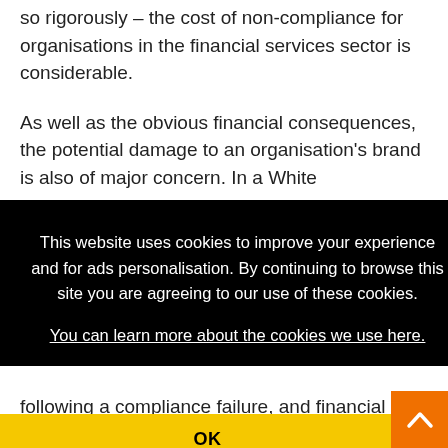so rigorously – the cost of non-compliance for organisations in the financial services sector is considerable.
As well as the obvious financial consequences, the potential damage to an organisation's brand is also of major concern. In a White [Paper by KPMG...] in the
[Figure (screenshot): Cookie consent overlay on a website. Black background with white text reading: 'This website uses cookies to improve your experience and for ads personalisation. By continuing to browse this site you are agreeing to our use of these cookies. You can learn more about the cookies we use here.' Below is a yellow OK button.]
following a compliance failure, and financial penaltie...